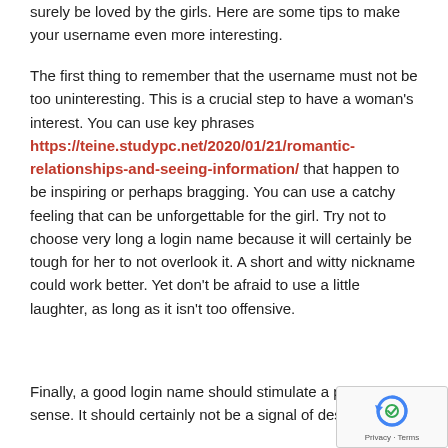surely be loved by the girls. Here are some tips to make your username even more interesting.
The first thing to remember that the username must not be too uninteresting. This is a crucial step to have a woman's interest. You can use key phrases https://teine.studypc.net/2020/01/21/romantic-relationships-and-seeing-information/ that happen to be inspiring or perhaps bragging. You can use a catchy feeling that can be unforgettable for the girl. Try not to choose very long a login name because it will certainly be tough for her to not overlook it. A short and witty nickname could work better. Yet don't be afraid to use a little laughter, as long as it isn't too offensive.
Finally, a good login name should stimulate a positive sense. It should certainly not be a signal of desperation.
[Figure (other): reCAPTCHA widget showing a circular arrow icon with 'Privacy - Terms' text below]